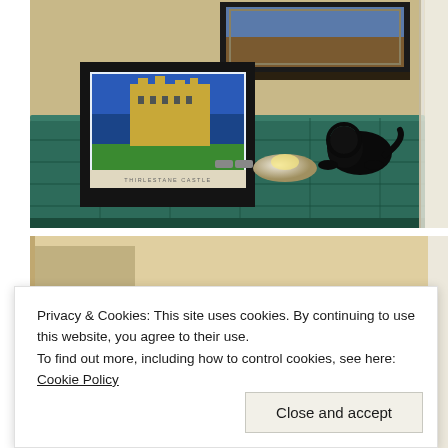[Figure (photo): Photograph of a room interior showing a green trunk/chest with a framed postcard of Thirlestane Castle, a small black lion figurine, and silver decorative items on top. A framed painting hangs on the beige wall above. A white door is visible on the right edge.]
[Figure (photo): Partial photograph below showing what appears to be another Thirlestane Castle postcard or book with the label 'THIRLESTANE CASTLE' visible at the bottom.]
Privacy & Cookies: This site uses cookies. By continuing to use this website, you agree to their use.
To find out more, including how to control cookies, see here: Cookie Policy